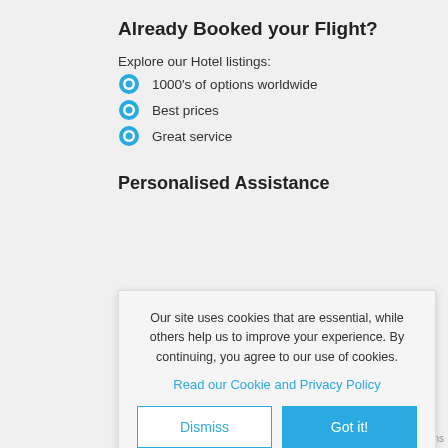Already Booked your Flight?
Explore our Hotel listings:
1000's of options worldwide
Best prices
Great service
Personalised Assistance
Our site uses cookies that are essential, while others help us to improve your experience. By continuing, you agree to our use of cookies.
Read our Cookie and Privacy Policy
Dismiss
Got it!